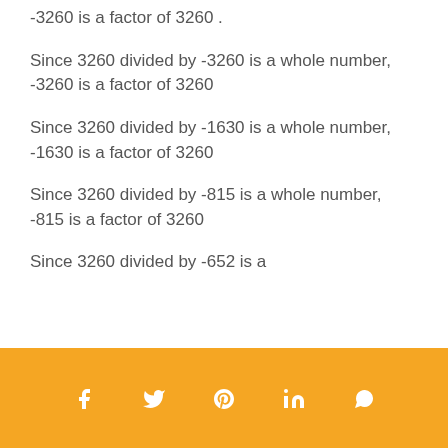-3260 is a factor of 3260 .
Since 3260 divided by -3260 is a whole number, -3260 is a factor of 3260
Since 3260 divided by -1630 is a whole number, -1630 is a factor of 3260
Since 3260 divided by -815 is a whole number, -815 is a factor of 3260
Since 3260 divided by -652 is a
social share icons: facebook, twitter, pinterest, linkedin, whatsapp